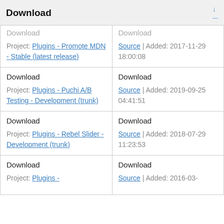Download
| Download (col 1) | Download (col 2) |
| --- | --- |
| Download
Project: Plugins - Promote MDN - Stable (latest release) | Download
Source | Added: 2017-11-29 18:00:08 |
| Download
Project: Plugins - Puchi A/B Testing - Development (trunk) | Download
Source | Added: 2019-09-25 04:41:51 |
| Download
Project: Plugins - Rebel Slider - Development (trunk) | Download
Source | Added: 2018-07-29 11:23:53 |
| Download
Project: Plugins - | Download
Source | Added: 2016-03- |